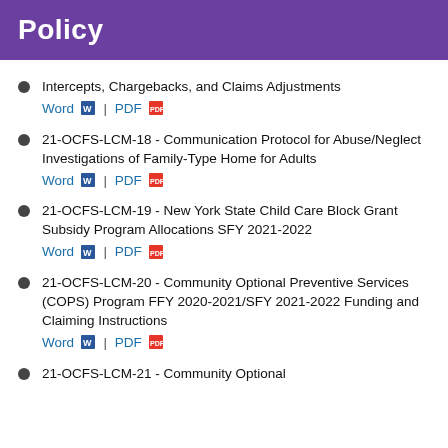Policy
Intercepts, Chargebacks, and Claims Adjustments Word | PDF
21-OCFS-LCM-18 - Communication Protocol for Abuse/Neglect Investigations of Family-Type Home for Adults Word | PDF
21-OCFS-LCM-19 - New York State Child Care Block Grant Subsidy Program Allocations SFY 2021-2022 Word | PDF
21-OCFS-LCM-20 - Community Optional Preventive Services (COPS) Program FFY 2020-2021/SFY 2021-2022 Funding and Claiming Instructions Word | PDF
21-OCFS-LCM-21 - Community Optional